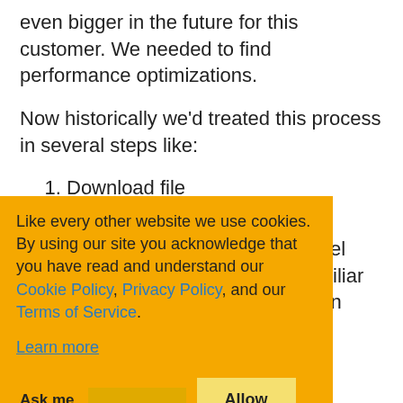even bigger in the future for this customer. We needed to find performance optimizations.
Now historically we'd treated this process in several steps like:
Download file
Read and process file (using DataFlow from the Task Parallel Library, which if you aren't familiar nd learn about) s) into
e steps took es. Reading ~10 minutes.
ming solutions to performance. But there was one thing that was
Like every other website we use cookies. By using our site you acknowledge that you have read and understand our Cookie Policy, Privacy Policy, and our Terms of Service. Learn more
Ask me later | Decline | Allow cookies